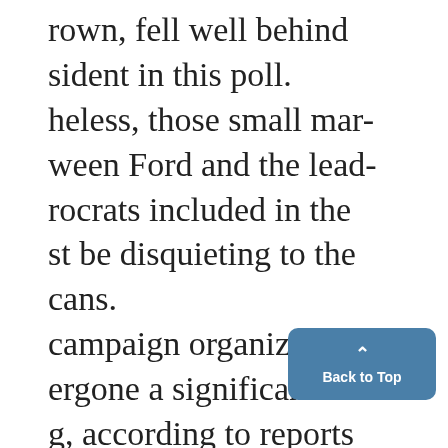rown, fell well behind sident in this poll. heless, those small mar- ween Ford and the lead- rocrats included in the st be disquieting to the cans. campaign organization ergone a significant re- g, according to reports ig in the New York succession. Couple all of this with the possibility of Alabama
[Figure (other): Back to Top button — a blue rounded rectangle with an upward chevron arrow and the text 'Back to Top']